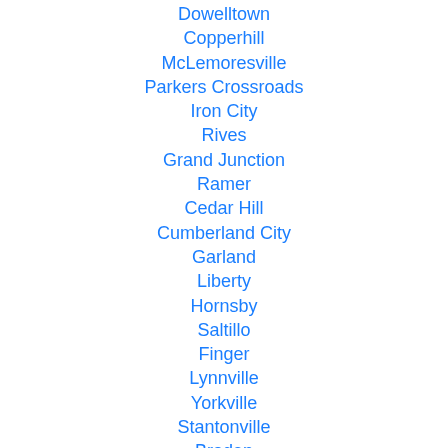Dowelltown
Copperhill
McLemoresville
Parkers Crossroads
Iron City
Rives
Grand Junction
Ramer
Cedar Hill
Cumberland City
Garland
Liberty
Hornsby
Saltillo
Finger
Lynnville
Yorkville
Stantonville
Braden